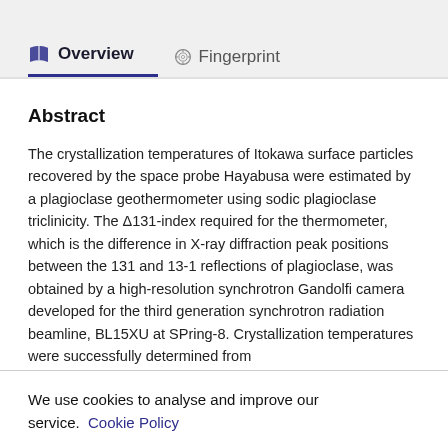Overview | Fingerprint
Abstract
The crystallization temperatures of Itokawa surface particles recovered by the space probe Hayabusa were estimated by a plagioclase geothermometer using sodic plagioclase triclinicity. The Δ131-index required for the thermometer, which is the difference in X-ray diffraction peak positions between the 131 and 13-1 reflections of plagioclase, was obtained by a high-resolution synchrotron Gandolfi camera developed for the third generation synchrotron radiation beamline, BL15XU at SPring-8. Crystallization temperatures were successfully determined from
We use cookies to analyse and improve our service. Cookie Policy